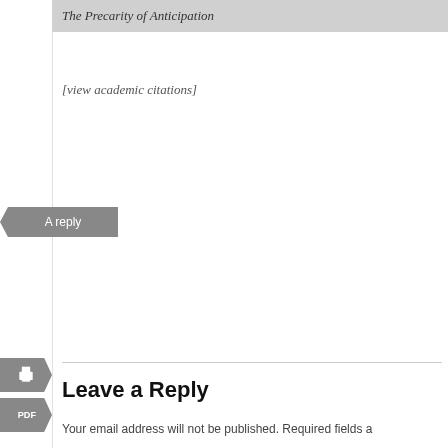The Precarity of Anticipation
[view academic citations]
A reply
Leave a Reply
Your email address will not be published. Required fields a
Comment *